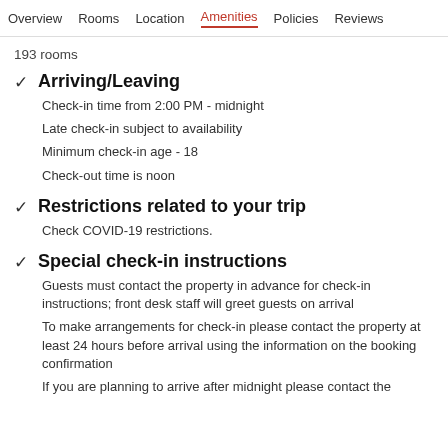Overview  Rooms  Location  Amenities  Policies  Reviews
193 rooms
Arriving/Leaving
Check-in time from 2:00 PM - midnight
Late check-in subject to availability
Minimum check-in age - 18
Check-out time is noon
Restrictions related to your trip
Check COVID-19 restrictions.
Special check-in instructions
Guests must contact the property in advance for check-in instructions; front desk staff will greet guests on arrival
To make arrangements for check-in please contact the property at least 24 hours before arrival using the information on the booking confirmation
If you are planning to arrive after midnight please contact the